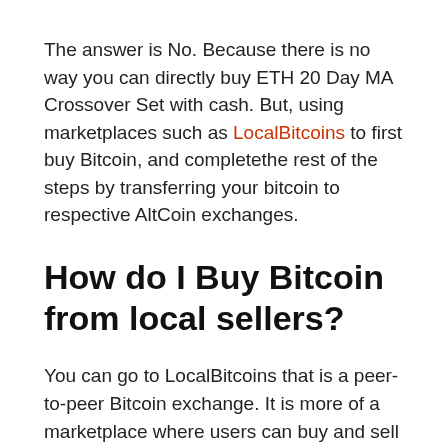The answer is No. Because there is no way you can directly buy ETH 20 Day MA Crossover Set with cash. But, using marketplaces such as LocalBitcoins to first buy Bitcoin, and completethe rest of the steps by transferring your bitcoin to respective AltCoin exchanges.
How do I Buy Bitcoin from local sellers?
You can go to LocalBitcoins that is a peer-to-peer Bitcoin exchange. It is more of a marketplace where users can buy and sell Bitcoins to and from each other. Users, known as traders, make advertisements to show their price and the payment method